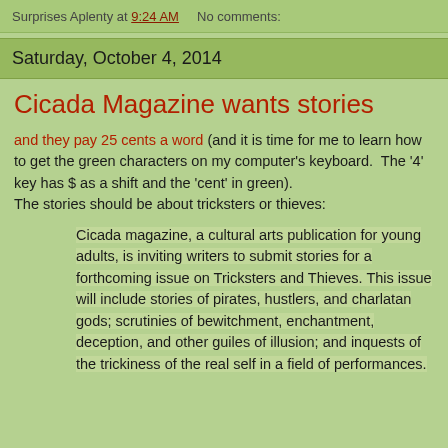Surprises Aplenty at 9:24 AM   No comments:
Saturday, October 4, 2014
Cicada Magazine wants stories
and they pay 25 cents a word (and it is time for me to learn how to get the green characters on my computer's keyboard.  The '4' key has $ as a shift and the 'cent' in green).
The stories should be about tricksters or thieves:
Cicada magazine, a cultural arts publication for young adults, is inviting writers to submit stories for a forthcoming issue on Tricksters and Thieves. This issue will include stories of pirates, hustlers, and charlatan gods; scrutinies of bewitchment, enchantment, deception, and other guiles of illusion; and inquests of the trickiness of the real self in a field of performances.